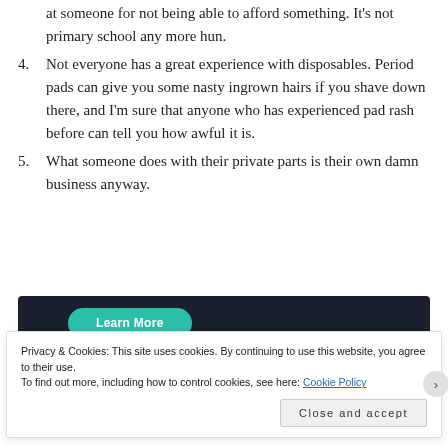at someone for not being able to afford something. It's not primary school any more hun.
4. Not everyone has a great experience with disposables. Period pads can give you some nasty ingrown hairs if you shave down there, and I'm sure that anyone who has experienced pad rash before can tell you how awful it is.
5. What someone does with their private parts is their own damn business anyway.
[Figure (screenshot): Dark banner advertisement with a teal 'Learn More' button and the Sensei logo in the bottom right]
Privacy & Cookies: This site uses cookies. By continuing to use this website, you agree to their use. To find out more, including how to control cookies, see here: Cookie Policy
Close and accept